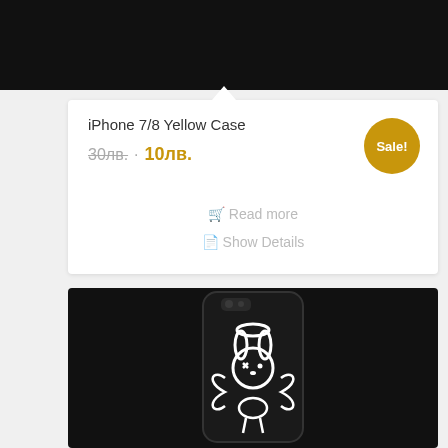[Figure (photo): Black top banner area of a product listing page]
iPhone 7/8 Yellow Case
30лв.  •  10лв.  Sale!
Read more
Show Details
[Figure (photo): Black iPhone 7/8 case with white angel bunny graphic (halo, wings, cross eyes)]